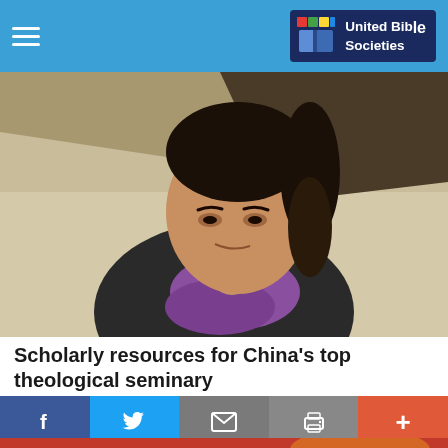United Bible Societies
[Figure (photo): Close-up photo of an Asian woman with dark hair pulled back, wearing a purple scarf and dark jacket, slightly smiling, with a blurred light-colored background]
Scholarly resources for China's top theological seminary
April 13, 2012
[Figure (photo): Partial photo showing a red banner with Chinese characters in gold/yellow text]
f   Twitter bird   Email   Print   +